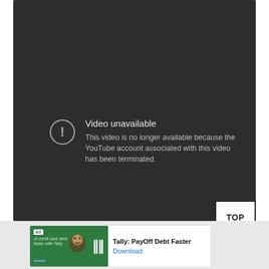[Figure (screenshot): YouTube video player showing 'Video unavailable' error screen on dark background. Error message reads: 'Video unavailable — This video is no longer available because the YouTube account associated with this video has been terminated.']
TOP
[Figure (screenshot): Mobile advertisement banner for 'Tally: PayOff Debt Faster' app with green background showing Tally logo and 'Ad' badge. Includes 'Download' link in blue.]